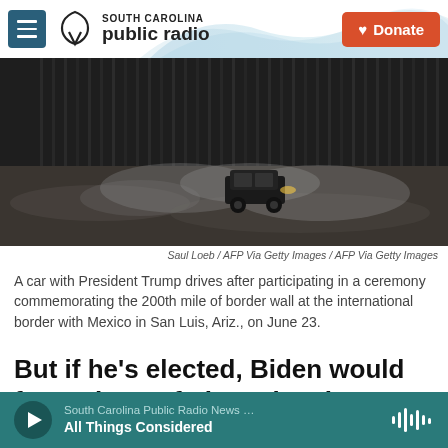South Carolina Public Radio — Donate
[Figure (photo): A dark SUV driving along the US-Mexico border wall, kicking up dust, with tall metal border barrier in the background.]
Saul Loeb / AFP Via Getty Images / AFP Via Getty Images
A car with President Trump drives after participating in a ceremony commemorating the 200th mile of border wall at the international border with Mexico in San Luis, Ariz., on June 23.
But if he's elected, Biden would face a host of obstacles that could slow his immigration counter-
South Carolina Public Radio News … All Things Considered